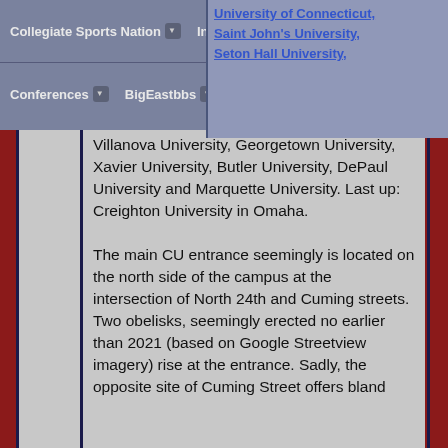Collegiate Sports Nation | Info/Support | Features | Lounge | Conferences | BigEastbbs
Villanova University, Georgetown University, Xavier University, Butler University, DePaul University and Marquette University. Last up: Creighton University in Omaha.

The main CU entrance seemingly is located on the north side of the campus at the intersection of North 24th and Cuming streets. Two obelisks, seemingly erected no earlier than 2021 (based on Google Streetview imagery) rise at the entrance. Sadly, the opposite site of Cuming Street offers bland